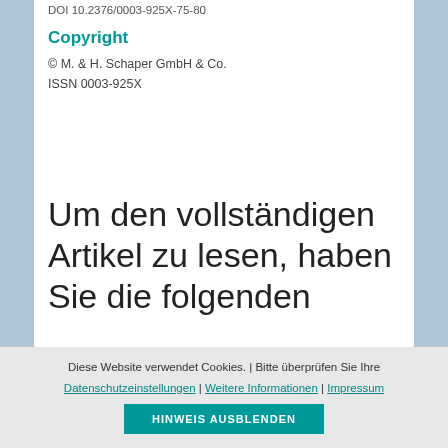DOI 10.2376/0003-925X-75-80
Copyright
© M. & H. Schaper GmbH & Co.
ISSN 0003-925X
Um den vollständigen Artikel zu lesen, haben Sie die folgenden
Diese Website verwendet Cookies. | Bitte überprüfen Sie Ihre
Datenschutzeinstellungen | Weitere Informationen | Impressum
HINWEIS AUSBLENDEN